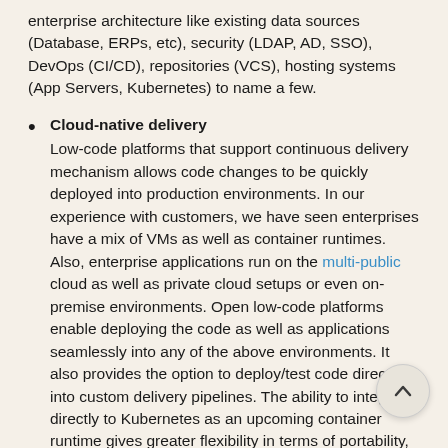enterprise architecture like existing data sources (Database, ERPs, etc), security (LDAP, AD, SSO), DevOps (CI/CD), repositories (VCS), hosting systems (App Servers, Kubernetes) to name a few.
Cloud-native delivery
Low-code platforms that support continuous delivery mechanism allows code changes to be quickly deployed into production environments. In our experience with customers, we have seen enterprises have a mix of VMs as well as container runtimes. Also, enterprise applications run on the multi-public cloud as well as private cloud setups or even on-premise environments. Open low-code platforms enable deploying the code as well as applications seamlessly into any of the above environments. It also provides the option to deploy/test code directly into custom delivery pipelines. The ability to integrate directly to Kubernetes as an upcoming container runtime gives greater flexibility in terms of portability, scalability, and DevOps efficiency within the enterprise. That is what we at WaveMaker are aiming to provide. With WaveMaker, enterprises can directly deploy applications into the Kubernetes cluster for